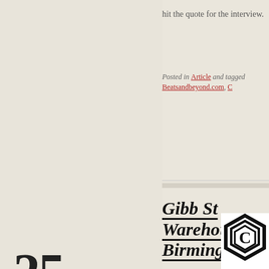hit the quote for the interview.
Posted in Article and tagged Beatsandbeyond.com, C
25
FEB 2012
Gibb St Warehouse C Birmingham